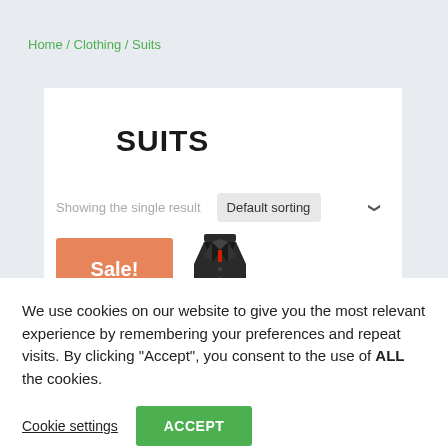Home / Clothing / Suits
SUITS
Showing the single result
[Figure (screenshot): Default sorting dropdown selector with chevron]
[Figure (photo): Sale! badge in orange and product image of a dark suit/jacket on display form]
We use cookies on our website to give you the most relevant experience by remembering your preferences and repeat visits. By clicking “Accept”, you consent to the use of ALL the cookies.
Cookie settings
ACCEPT